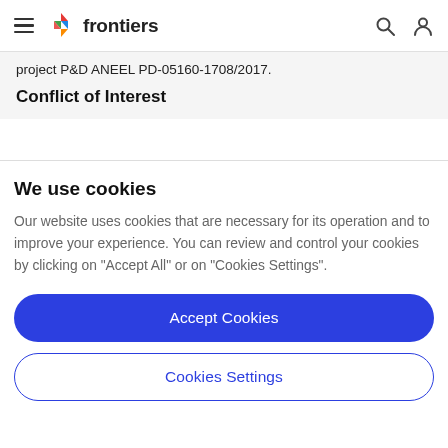frontiers
project P&D ANEEL PD-05160-1708/2017.
Conflict of Interest
We use cookies
Our website uses cookies that are necessary for its operation and to improve your experience. You can review and control your cookies by clicking on "Accept All" or on "Cookies Settings".
Accept Cookies
Cookies Settings